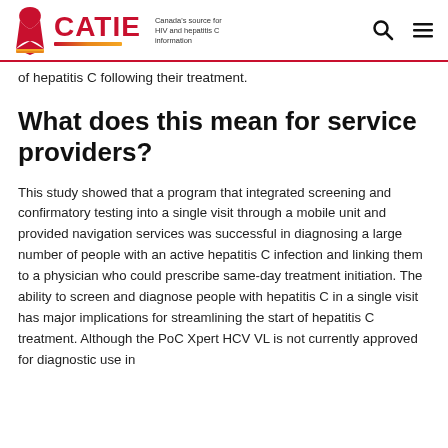CATIE — Canada's source for HIV and hepatitis C information
of hepatitis C following their treatment.
What does this mean for service providers?
This study showed that a program that integrated screening and confirmatory testing into a single visit through a mobile unit and provided navigation services was successful in diagnosing a large number of people with an active hepatitis C infection and linking them to a physician who could prescribe same-day treatment initiation. The ability to screen and diagnose people with hepatitis C in a single visit has major implications for streamlining the start of hepatitis C treatment. Although the PoC Xpert HCV VL is not currently approved for diagnostic use in